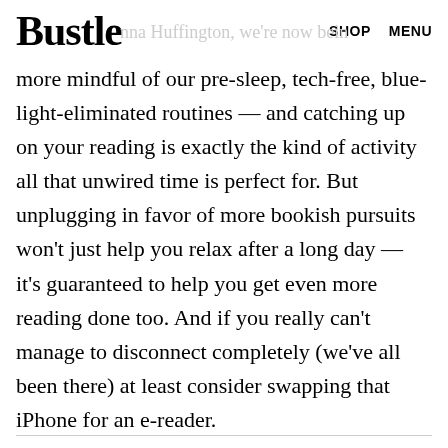Bustle   SHOP   MENU
more mindful of our pre-sleep, tech-free, blue-light-eliminated routines — and catching up on your reading is exactly the kind of activity all that unwired time is perfect for. But unplugging in favor of more bookish pursuits won't just help you relax after a long day — it's guaranteed to help you get even more reading done too. And if you really can't manage to disconnect completely (we've all been there) at least consider swapping that iPhone for an e-reader.